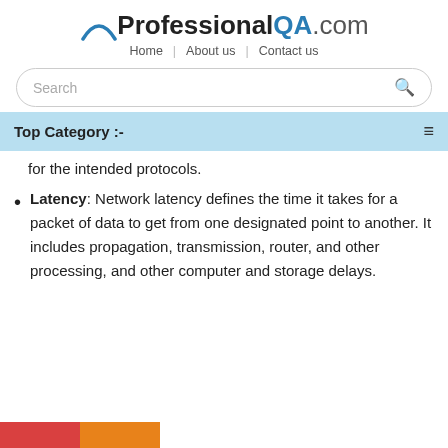ProfessionalQA.com
Home | About us | Contact us
Search
Top Category :-
for the intended protocols.
Latency: Network latency defines the time it takes for a packet of data to get from one designated point to another. It includes propagation, transmission, router, and other processing, and other computer and storage delays.